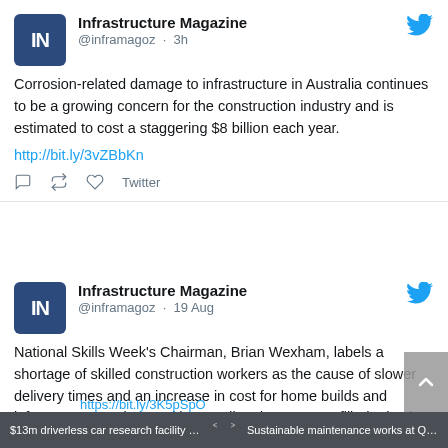[Figure (screenshot): Twitter/social media feed screenshot showing two tweets from Infrastructure Magazine (@inframagoz). First tweet posted 3h ago: 'Corrosion-related damage to infrastructure in Australia continues to be a growing concern for the construction industry and is estimated to cost a staggering $8 billion each year.' with link http://bit.ly/3vZBbKn. Second tweet posted 19 Aug: 'National Skills Week's Chairman, Brian Wexham, labels a shortage of skilled construction workers as the cause of slower delivery times and an increase in cost for home builds and infrastructure projects, with a predicted 100,000 unfilled roles by 2023.']
$13m driverless car research facility for ...  <  >  Sustainable maintenance works at QLD p...